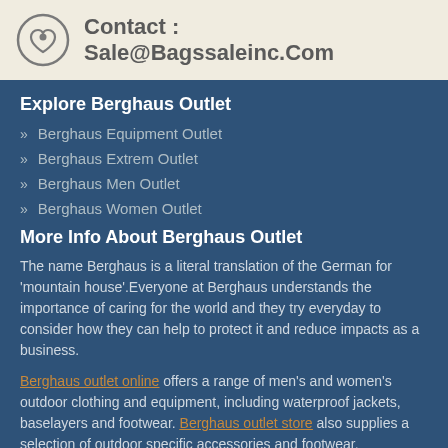Contact : Sale@Bagssaleinc.Com
Explore Berghaus Outlet
Berghaus Equipment Outlet
Berghaus Extrem Outlet
Berghaus Men Outlet
Berghaus Women Outlet
More Info About Berghaus Outlet
The name Berghaus is a literal translation of the German for 'mountain house'.Everyone at Berghaus understands the importance of caring for the world and they try everyday to consider how they can help to protect it and reduce impacts as a business.
Berghaus outlet online offers a range of men's and women's outdoor clothing and equipment, including waterproof jackets, baselayers and footwear. Berghaus outlet store also supplies a selection of outdoor specific accessories and footwear.